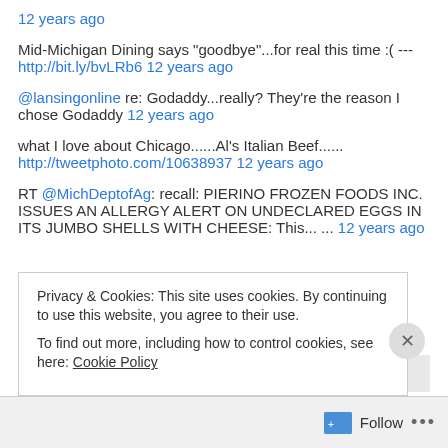12 years ago
Mid-Michigan Dining says "goodbye"...for real this time :( --- http://bit.ly/bvLRb6 12 years ago
@lansingonline re: Godaddy...really? They're the reason I chose Godaddy 12 years ago
what I love about Chicago......Al's Italian Beef...... http://tweetphoto.com/10638937 12 years ago
RT @MichDeptofAg: recall: PIERINO FROZEN FOODS INC. ISSUES AN ALLERGY ALERT ON UNDECLARED EGGS IN ITS JUMBO SHELLS WITH CHEESE: This... ... 12 years ago
Privacy & Cookies: This site uses cookies. By continuing to use this website, you agree to their use. To find out more, including how to control cookies, see here: Cookie Policy
Close and accept
Follow ...